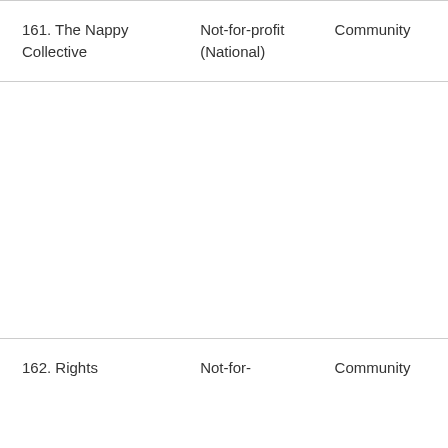| 161. The Nappy Collective | Not-for-profit (National) | Community |
| 162. Rights | Not-for- | Community |